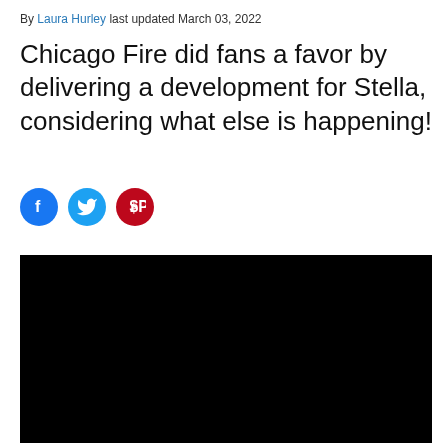By Laura Hurley last updated March 03, 2022
Chicago Fire did fans a favor by delivering a development for Stella, considering what else is happening!
[Figure (other): Social media share icons: Facebook (blue circle), Twitter (light blue circle), Pinterest (red circle)]
[Figure (photo): Black rectangular image placeholder, likely a video thumbnail or image that failed to load]